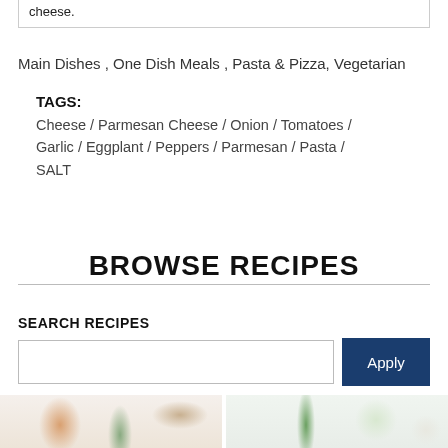cheese.
Main Dishes , One Dish Meals , Pasta & Pizza, Vegetarian
TAGS:
Cheese / Parmesan Cheese / Onion / Tomatoes / Garlic / Eggplant / Peppers / Parmesan / Pasta / SALT
BROWSE RECIPES
SEARCH RECIPES
[Figure (photo): Two cocktail/drink photos: left shows a pink drink with rosemary garnish and red berry; right shows a clear drink with cucumber and a white beverage.]